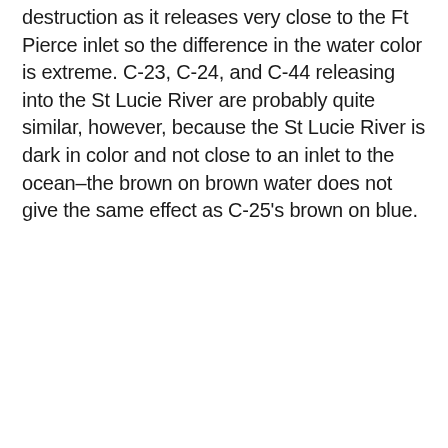destruction as it releases very close to the Ft Pierce inlet so the difference in the water color is extreme. C-23, C-24, and C-44 releasing into the St Lucie River are probably quite similar, however, because the St Lucie River is dark in color and not close to an inlet to the ocean–the brown on brown water does not give the same effect as C-25's brown on blue.